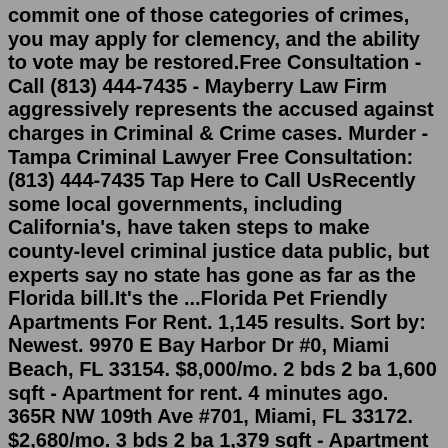commit one of those categories of crimes, you may apply for clemency, and the ability to vote may be restored.Free Consultation - Call (813) 444-7435 - Mayberry Law Firm aggressively represents the accused against charges in Criminal & Crime cases. Murder - Tampa Criminal Lawyer Free Consultation: (813) 444-7435 Tap Here to Call UsRecently some local governments, including California's, have taken steps to make county-level criminal justice data public, but experts say no state has gone as far as the Florida bill.It's the ...Florida Pet Friendly Apartments For Rent. 1,145 results. Sort by: Newest. 9970 E Bay Harbor Dr #0, Miami Beach, FL 33154. $8,000/mo. 2 bds 2 ba 1,600 sqft - Apartment for rent. 4 minutes ago. 365R NW 109th Ave #701, Miami, FL 33172. $2,680/mo. 3 bds 2 ba 1,379 sqft - Apartment for rent.Florida ReEntry Programs. ReEntry Programs help ex-offenders and felons on probation get jobs, find housing and network with others who may be in a similar situation. Some Re-entry programs may also be associated with religious and spiritual